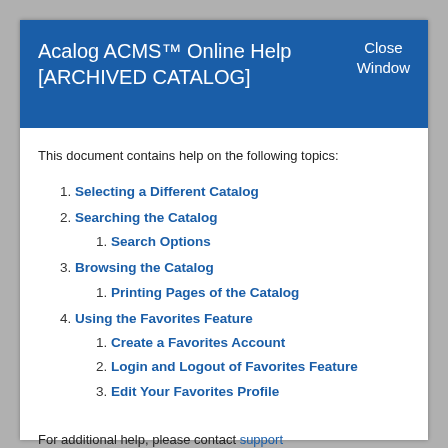Acalog ACMS™ Online Help [ARCHIVED CATALOG]
This document contains help on the following topics:
1. Selecting a Different Catalog
2. Searching the Catalog
1. Search Options
3. Browsing the Catalog
1. Printing Pages of the Catalog
4. Using the Favorites Feature
1. Create a Favorites Account
2. Login and Logout of Favorites Feature
3. Edit Your Favorites Profile
For additional help, please contact support